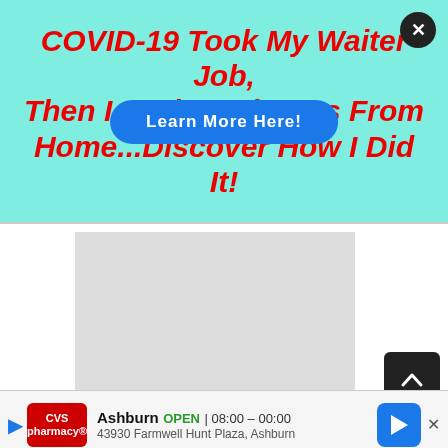[Figure (screenshot): Advertisement banner with mint/aqua background. Bold red italic text: 'COVID-19 Took My Waiter Job, Then I Made 5-Figures From Home...Discover How I Did It!' with a blue oval 'Learn More Here!' button overlaid. Black circle close button top right.]
[Figure (screenshot): Gray placeholder rectangle representing an embedded advertisement image area.]
Financial contracts(e.g., savings deposits and bank loans) in countries that have
[Figure (screenshot): CVS Pharmacy local ad banner: Ashburn OPEN 08:00-00:00, 43930 Farmwell Hunt Plaza, Ashburn. With CVS logo, navigation arrow icon.]